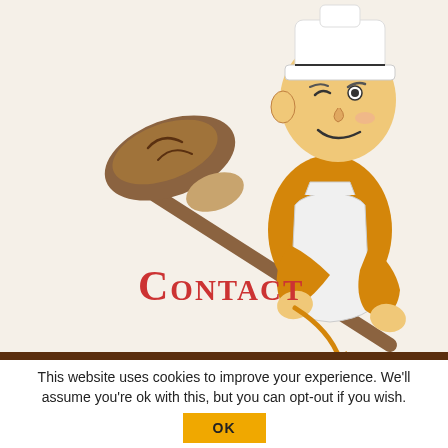[Figure (illustration): Cartoon baker/chef character wearing an orange shirt and white apron, holding a long wooden paddle/peel with a round bread loaf on it, looking cheerful]
Contact
This website uses cookies to improve your experience. We'll assume you're ok with this, but you can opt-out if you wish.
OK